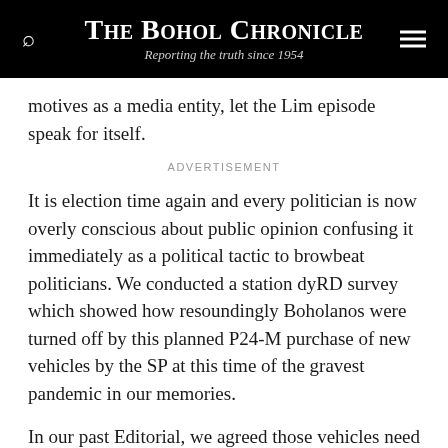The Bohol Chronicle — Reporting the truth since 1954
motives as a media entity, let the Lim episode speak for itself.
ADVERTISEMENT
It is election time again and every politician is now overly conscious about public opinion confusing it immediately as a political tactic to browbeat politicians. We conducted a station dyRD survey which showed how resoundingly Boholanos were turned off by this planned P24-M purchase of new vehicles by the SP at this time of the gravest pandemic in our memories.
In our past Editorial, we agreed those vehicles need to be replaced but the timing of the purchase is awfully bad, buddy. There is starvation, loss of jobs and income and the threat of a virus on an overhang. Postpone it a few months, maybe, we hinted- but of course, there's an election campaign coming. And now- everyone and his uncle involved in the unpopular